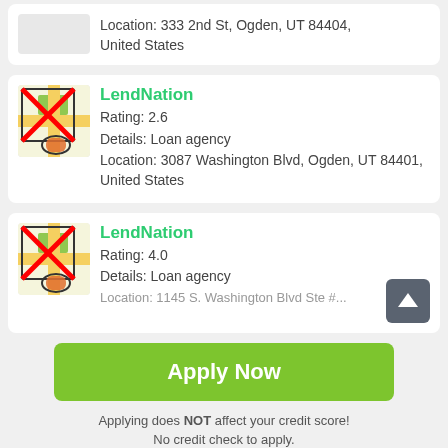Location: 333 2nd St, Ogden, UT 84404, United States
LendNation
Rating: 2.6
Details: Loan agency
Location: 3087 Washington Blvd, Ogden, UT 84401, United States
LendNation
Rating: 4.0
Details: Loan agency
Location: 1145 S. Washington Blvd Ste #...
Apply Now
Applying does NOT affect your credit score!
No credit check to apply.